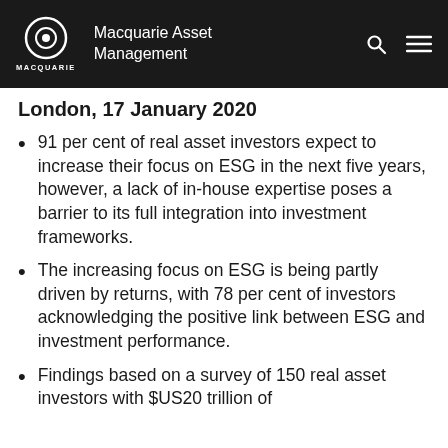Macquarie Asset Management
London, 17 January 2020
91 per cent of real asset investors expect to increase their focus on ESG in the next five years, however, a lack of in-house expertise poses a barrier to its full integration into investment frameworks.
The increasing focus on ESG is being partly driven by returns, with 78 per cent of investors acknowledging the positive link between ESG and investment performance.
Findings based on a survey of 150 real asset investors with $US20 trillion of